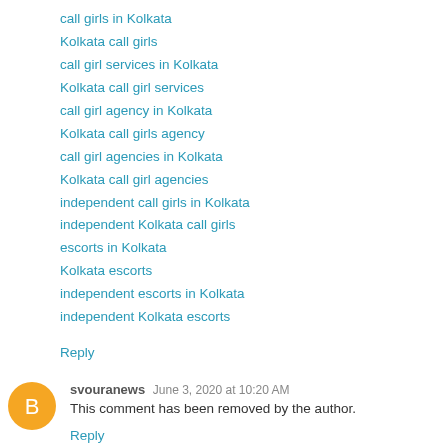call girls in Kolkata
Kolkata call girls
call girl services in Kolkata
Kolkata call girl services
call girl agency in Kolkata
Kolkata call girls agency
call girl agencies in Kolkata
Kolkata call girl agencies
independent call girls in Kolkata
independent Kolkata call girls
escorts in Kolkata
Kolkata escorts
independent escorts in Kolkata
independent Kolkata escorts
Reply
svouranews   June 3, 2020 at 10:20 AM
This comment has been removed by the author.
Reply